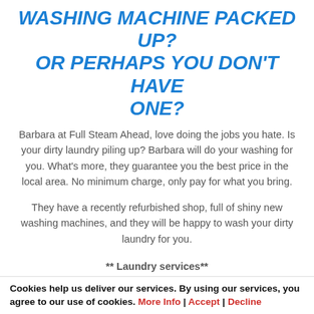WASHING MACHINE PACKED UP? OR PERHAPS YOU DON'T HAVE ONE?
Barbara at Full Steam Ahead, love doing the jobs you hate. Is your dirty laundry piling up? Barbara will do your washing for you. What's more, they guarantee you the best price in the local area. No minimum charge, only pay for what you bring.
They have a recently refurbished shop, full of shiny new washing machines, and they will be happy to wash your dirty laundry for you.
** Laundry services**
Small wash: £13.00
Medium wash: £16.00
Cookies help us deliver our services. By using our services, you agree to our use of cookies. More Info | Accept | Decline